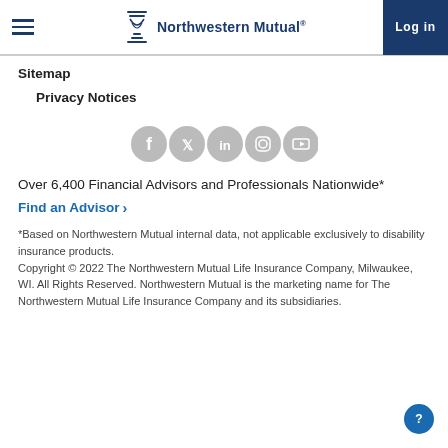Northwestern Mutual® | Log in
Sitemap
Privacy Notices
[Figure (illustration): Five social media icon circles (Facebook, Twitter, LinkedIn, Instagram, YouTube) in gray]
Over 6,400 Financial Advisors and Professionals Nationwide*
Find an Advisor ›
*Based on Northwestern Mutual internal data, not applicable exclusively to disability insurance products. Copyright © 2022 The Northwestern Mutual Life Insurance Company, Milwaukee, WI. All Rights Reserved. Northwestern Mutual is the marketing name for The Northwestern Mutual Life Insurance Company and its subsidiaries.